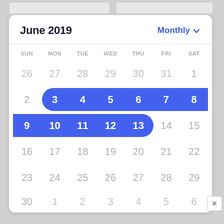[Figure (screenshot): A monthly calendar view for June 2019 showing dates 26 May–6 July. Dates June 3–13 are highlighted with a blue pill/range selection spanning two rows. Row 1: June 3–8 selected (pill with rounded left cap, flush right). Row 2: June 9–13 selected (flush left, rounded right cap). The calendar header shows 'June 2019' on the left and 'Monthly ▾' dropdown on the right. Day-of-week headers: SUN MON TUE WED THU FRI SAT.]